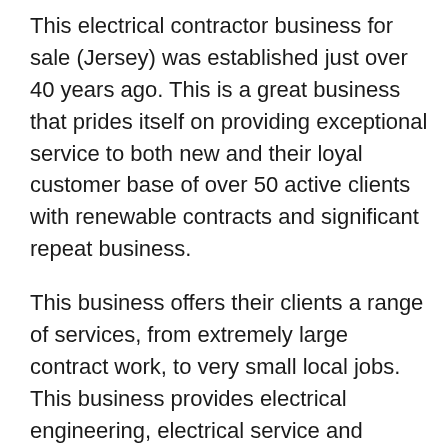This electrical contractor business for sale (Jersey) was established just over 40 years ago. This is a great business that prides itself on providing exceptional service to both new and their loyal customer base of over 50 active clients with renewable contracts and significant repeat business.
This business offers their clients a range of services, from extremely large contract work, to very small local jobs. This business provides electrical engineering, electrical service and electrical systems installations.
One of the current directors is willing to provide a handover to the new owner on an advisory period of up to six months if